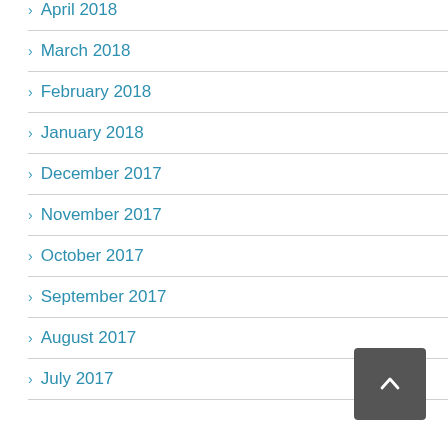April 2018
March 2018
February 2018
January 2018
December 2017
November 2017
October 2017
September 2017
August 2017
July 2017